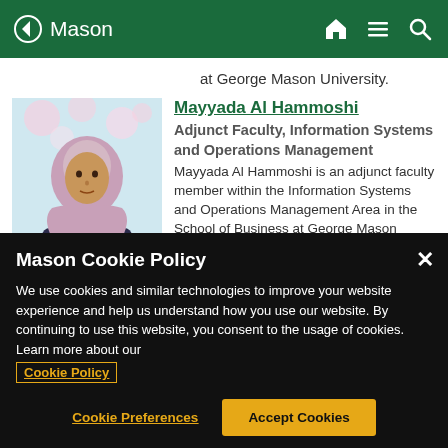Mason
at George Mason University.
Mayyada Al Hammoshi
Adjunct Faculty, Information Systems and Operations Management
Mayyada Al Hammoshi is an adjunct faculty member within the Information Systems and Operations Management Area in the School of Business at George Mason
Mason Cookie Policy
We use cookies and similar technologies to improve your website experience and help us understand how you use our website. By continuing to use this website, you consent to the usage of cookies. Learn more about our Cookie Policy
Cookie Preferences
Accept Cookies